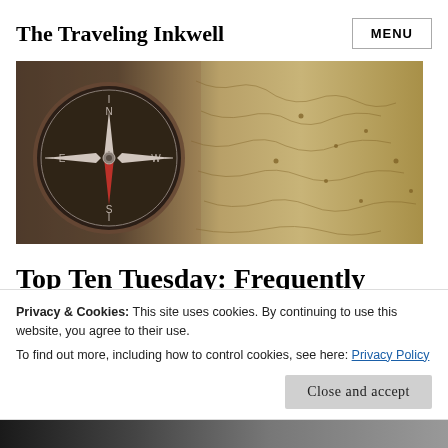The Traveling Inkwell
[Figure (photo): Hero image showing a vintage compass on burlap fabric next to an antique map]
Top Ten Tuesday: Frequently
Privacy & Cookies: This site uses cookies. By continuing to use this website, you agree to their use.
To find out more, including how to control cookies, see here: Privacy Policy
Close and accept